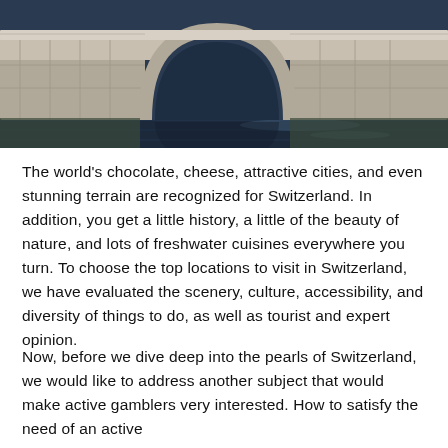[Figure (photo): A stone arch bridge over water, photographed at dusk or evening with dark blue water visible beneath and around the bridge. The bridge has a single large arch and is constructed of light-colored stone blocks.]
The world's chocolate, cheese, attractive cities, and even stunning terrain are recognized for Switzerland. In addition, you get a little history, a little of the beauty of nature, and lots of freshwater cuisines everywhere you turn. To choose the top locations to visit in Switzerland, we have evaluated the scenery, culture, accessibility, and diversity of things to do, as well as tourist and expert opinion.
Now, before we dive deep into the pearls of Switzerland, we would like to address another subject that would make active gamblers very interested. How to satisfy the need of an active